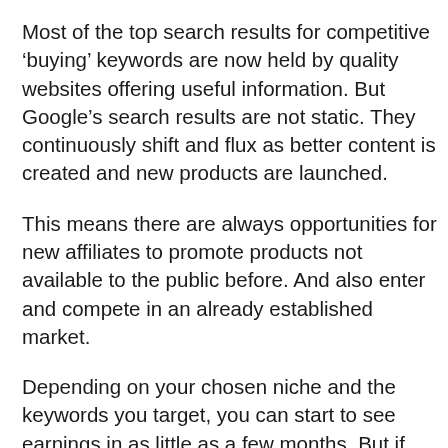Most of the top search results for competitive ‘buying’ keywords are now held by quality websites offering useful information. But Google’s search results are not static. They continuously shift and flux as better content is created and new products are launched.
This means there are always opportunities for new affiliates to promote products not available to the public before. And also enter and compete in an already established market.
Depending on your chosen niche and the keywords you target, you can start to see earnings in as little as a few months. But if you want to win traffic in some of the most popular areas, it can take several years to take a website to the top of the search results.